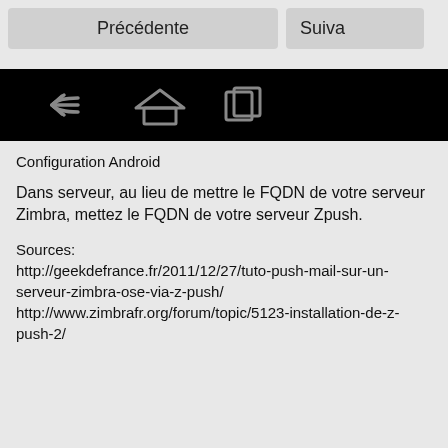[Figure (screenshot): Top navigation bar with two buttons: 'Précédente' (previous) on the left and 'Suivante' (next, partially visible) on the right, styled as grey rounded rectangle buttons on a light grey background.]
[Figure (screenshot): Android navigation bar with black background showing back arrow icon, home (house) icon, and a partially visible recents icon.]
Configuration Android
Dans serveur, au lieu de mettre le FQDN de votre serveur Zimbra, mettez le FQDN de votre serveur Zpush.
Sources:
http://geekdefrance.fr/2011/12/27/tuto-push-mail-sur-un-serveur-zimbra-ose-via-z-push/
http://www.zimbrafr.org/forum/topic/5123-installation-de-z-push-2/